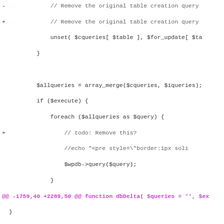[Figure (screenshot): A code diff view showing PHP code changes in a WordPress database function. Lines with '-' are removals (red), lines with '+' are additions (green), neutral lines in dark, and a hunk header in purple. Highlights show removed and added docblock descriptions.]